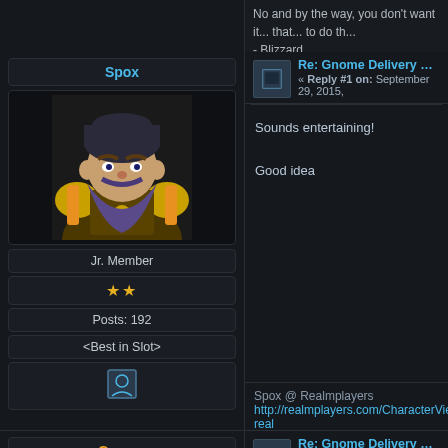No and by the way, you don't want it... that... to do th- - Blizzard.
Re: Gnome Delivery Race Round 2
« Reply #1 on: September 29, 2015,
Sounds entertaining!

Good idea
Spox @ Realmplayers
http://realmplayers.com/CharacterViewer.aspx?real
Spoxish @ Realmplayers
http://realmplayers.com/CharacterViewer.aspx?real
Re: Gnome Delivery Race Round 2
« Reply #2 on: September 29, 2015,
Wtb sunday afternoon -.-